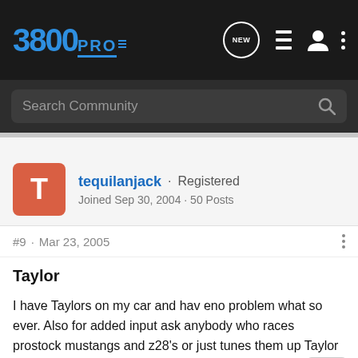3800PRO
Search Community
tequilanjack · Registered
Joined Sep 30, 2004 · 50 Posts
#9 · Mar 23, 2005
Taylor
I have Taylors on my car and hav eno problem what so ever. Also for added input ask anybody who races prostock mustangs and z28's or just tunes them up Taylor is the way to go and have been rated better then MSD, in many articles I've read.